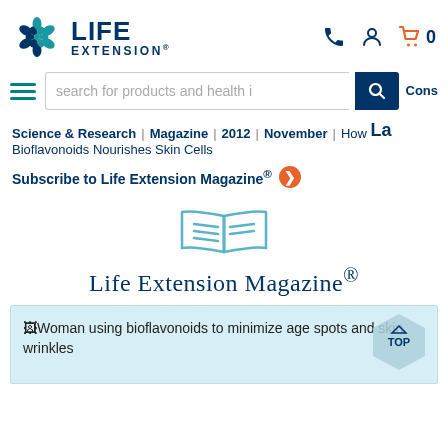[Figure (logo): Life Extension logo with hexagonal snowflake/flower icon and bold LIFE EXTENSION text]
[Figure (infographic): Navigation header icons: phone, user account, and shopping cart with 0 items]
[Figure (screenshot): Search bar with hamburger menu icon, search input placeholder 'search for products and health i', search button, and Cons label]
Science & Research | Magazine | 2012 | November | How La
Bioflavonoids Nourishes Skin Cells
Subscribe to Life Extension Magazine® ❯
[Figure (illustration): Open book / magazine icon in light blue outline style]
Life Extension Magazine®
[Figure (photo): Broken image placeholder: Woman using bioflavonoids to minimize age spots and skin wrinkles]
[Figure (other): Hexagon TOP button in light blue]